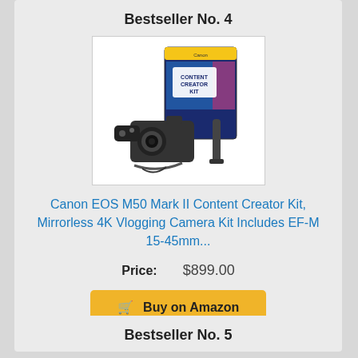Bestseller No. 4
[Figure (photo): Canon EOS M50 Mark II Content Creator Kit product photo showing camera, accessories, and box]
Canon EOS M50 Mark II Content Creator Kit, Mirrorless 4K Vlogging Camera Kit Includes EF-M 15-45mm...
Price:  $899.00
Buy on Amazon
Bestseller No. 5